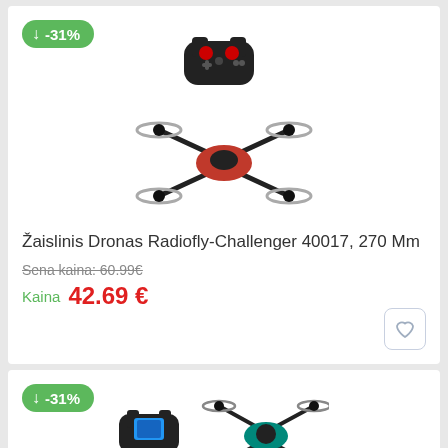-31%
[Figure (photo): Red quadcopter drone with black controller, product image]
Žaislinis Dronas Radiofly-Challenger 40017, 270 Mm
Sena kaina: 60.99€
Kaina 42.69 €
-31%
[Figure (photo): Green quadcopter drone with smartphone controller, product image]